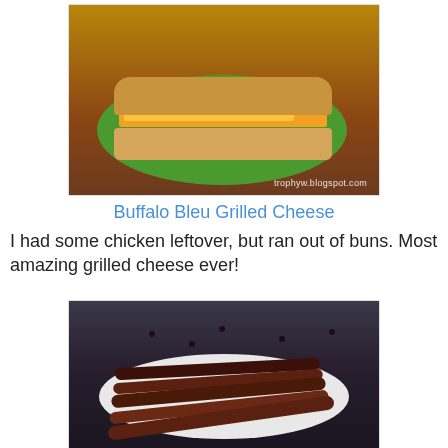[Figure (photo): Photo of a buffalo bleu grilled cheese sandwich on a green plate, with watermark trophyw.blogspot.com]
Buffalo Bleu Grilled Cheese
I had some chicken leftover, but ran out of buns. Most amazing grilled cheese ever!
[Figure (photo): Photo of grilled/smoked ribs on a white plate with dark glaze]